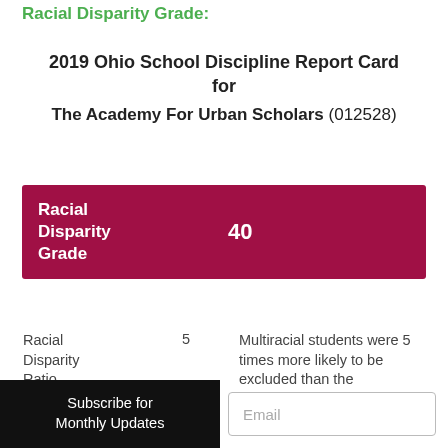Racial Disparity Grade:
2019 Ohio School Discipline Report Card for The Academy For Urban Scholars (012528)
|  |  |  |
| --- | --- | --- |
| Racial Disparity Grade | 40 |  |
| Racial Disparity Ratio | 5 | Multiracial students were 5 times more likely to be excluded than the |
| Number of |  |  |
Subscribe for Monthly Updates
Email